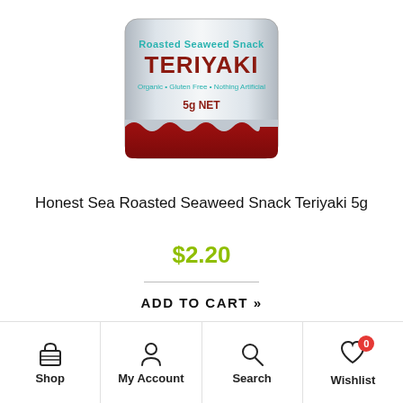[Figure (photo): Product photo of Honest Sea Roasted Seaweed Snack Teriyaki 5g package — a silver foil bag with red bottom and teal/red text]
Honest Sea Roasted Seaweed Snack Teriyaki 5g
$2.20
ADD TO CART »
Shop | My Account | Search | Wishlist (0)